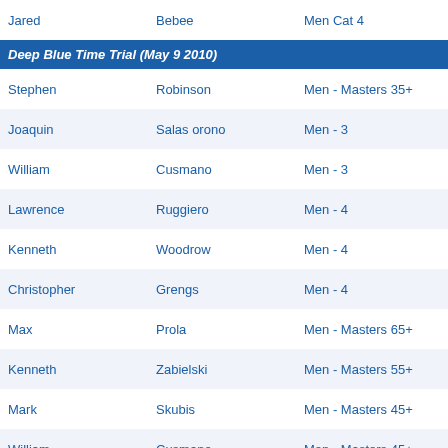| First | Last | Category |
| --- | --- | --- |
| Jared | Bebee | Men Cat 4 |
Deep Blue Time Trial (May 9 2010)
| First | Last | Category |
| --- | --- | --- |
| Stephen | Robinson | Men - Masters 35+ |
| Joaquin | Salas orono | Men - 3 |
| William | Cusmano | Men - 3 |
| Lawrence | Ruggiero | Men - 4 |
| Kenneth | Woodrow | Men - 4 |
| Christopher | Grengs | Men - 4 |
| Max | Prola | Men - Masters 65+ |
| Kenneth | Zabielski | Men - Masters 55+ |
| Mark | Skubis | Men - Masters 45+ |
| William | Cusmano | Men - Masters 45+ |
| Lawrence | Ruggiero | Men - Masters 45+ |
The 3rd Annual Fort Ritchie Criterium Sponsored by Corporate Office Properties
| First | Last | Category |
| --- | --- | --- |
| Christopher | Grengs | SENIOR 4 |
| Patrick | Dolan | SENIOR 4 |
| Meg | Schiffman | WOMENS IV |